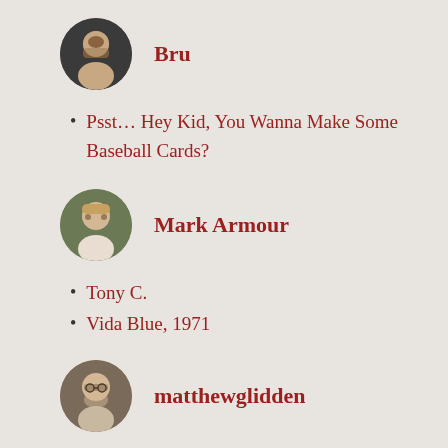[Figure (photo): Circular avatar photo of user Bru - man with beard]
Bru
Psst… Hey Kid, You Wanna Make Some Baseball Cards?
[Figure (photo): Circular avatar photo of Mark Armour - man with glasses]
Mark Armour
Tony C.
Vida Blue, 1971
[Figure (photo): Circular avatar photo of matthewglidden - man with glasses]
matthewglidden
What if Robert Laughlin made his 300/400/500 set today?
Fahrenheit 407